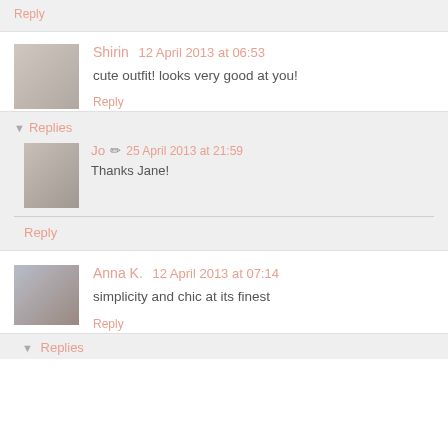Reply
Shirin  12 April 2013 at 06:53
cute outfit! looks very good at you!
Reply
Replies
Jo  25 April 2013 at 21:59
Thanks Jane!
Reply
Anna K.  12 April 2013 at 07:14
simplicity and chic at its finest
Reply
Replies